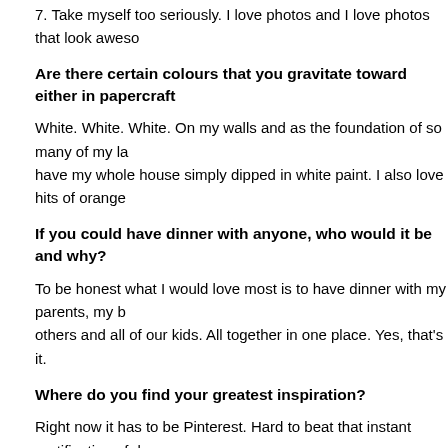7. Take myself too seriously. I love photos and I love photos that look aweso
Are there certain colours that you gravitate toward either in papercraft
White. White. White. On my walls and as the foundation of so many of my la have my whole house simply dipped in white paint. I also love hits of orange
If you could have dinner with anyone, who would it be and why?
To be honest what I would love most is to have dinner with my parents, my b others and all of our kids. All together in one place. Yes, that's it.
Where do you find your greatest inspiration?
Right now it has to be Pinterest. Hard to beat that instant gratification of des fan of print magazines such as Martha Stewart and Country Living.
Fast five...
Steak or sushi | Sushi, always.
Lake or ocean | Ocean
Button or brad | Brad